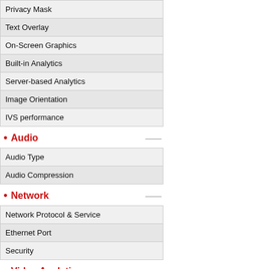| Privacy Mask |
| Text Overlay |
| On-Screen Graphics |
| Built-in Analytics |
| Server-based Analytics |
| Image Orientation |
| IVS performance |
Audio
| Audio Type |
| Audio Compression |
Network
| Network Protocol & Service |
| Ethernet Port |
| Security |
Video Analytics
| Analysis Source Type |
| Metadata Accuracy |
Event
| Event Trigger |
| Event Response |